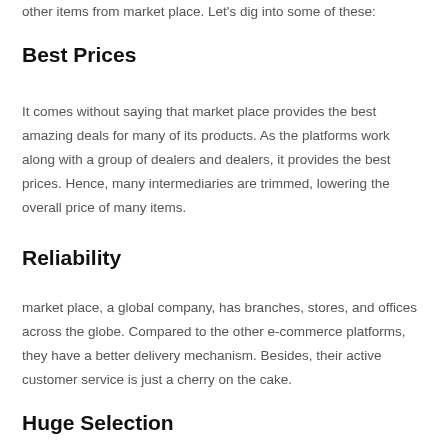other items from market place. Let's dig into some of these:
Best Prices
It comes without saying that market place provides the best amazing deals for many of its products. As the platforms work along with a group of dealers and dealers, it provides the best prices. Hence, many intermediaries are trimmed, lowering the overall price of many items.
Reliability
market place, a global company, has branches, stores, and offices across the globe. Compared to the other e-commerce platforms, they have a better delivery mechanism. Besides, their active customer service is just a cherry on the cake.
Huge Selection